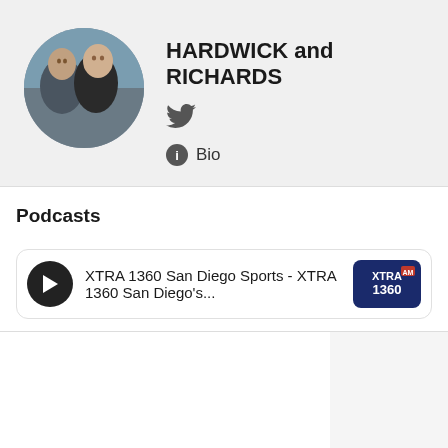[Figure (photo): Circular profile photo of two men outdoors]
HARDWICK and RICHARDS
[Figure (logo): Twitter bird icon]
Bio
Podcasts
XTRA 1360 San Diego Sports - XTRA 1360 San Diego's...
[Figure (logo): XTRA 1360 station logo]